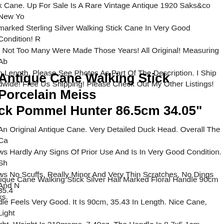k Cane. Up For Sale Is A Rare Vintage Antique 1920 Saks&co New Yo marked Sterling Silver Walking Stick Cane In Very Good Condition! R, Not Too Many Were Made Those Years! All Original! Measuring Ab n Length. Please See Photos As Part Of The Description. I Ship dwide! Free Us Shipping! Please Check Out My Other Listings!
Antique Cane Walking Stick Porcelain Meiss ck Pommel Hunter 86.5cm 34.05"
An Original Antique Cane. Very Detailed Duck Head. Overall The Ca ws Hardly Any Signs Of Prior Use And Is In Very Good Condition. Sh ws No Scuffs, Really Minor And Very Thin Scratches, No Dings And N ks.
tique Cane Walking Stick Silver Hall Marked Floral Handle 90cm 35.4 dle Feels Very Good. It Is 90cm, 35.43 In Length. Nice Cane, Light ght. Weight Is 210grams, 7.40oz. The Handle Is 8.7x5.1cm, 3.42x2.00. quer Is In Good Condition. Has A Light Weight Sturdy, At It Widest 1.6 Thick, Shaft With Its Original Furrele.